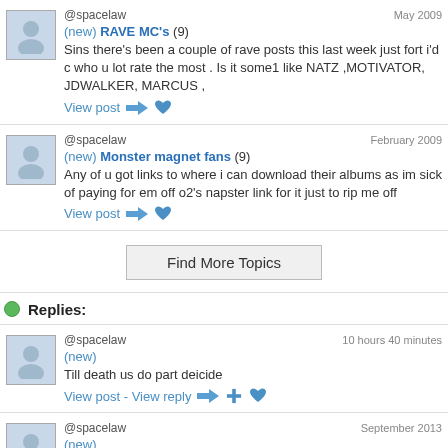@spacelaw | May 2009 | (new) RAVE MC's (9) | Sins there's been a couple of rave posts this last week just fort i'd c who u lot rate the most . Is it some1 like NATZ ,MOTIVATOR, JDWALKER, MARCUS , | View post
@spacelaw | February 2009 | (new) Monster magnet fans (9) | Any of u got links to where i can download their albums as im sick of paying for em off o2's napster link for it just to rip me off | View post
Find More Topics
Replies:
@spacelaw | 10 hours 40 minutes | (new) | Till death us do part deicide | View post - View reply
@spacelaw | September 2013 | (new) | Wasn't using pro at the time but this was one of the saddest day in music still can't get my head around what happened how the fk did he die this way | View post - View reply